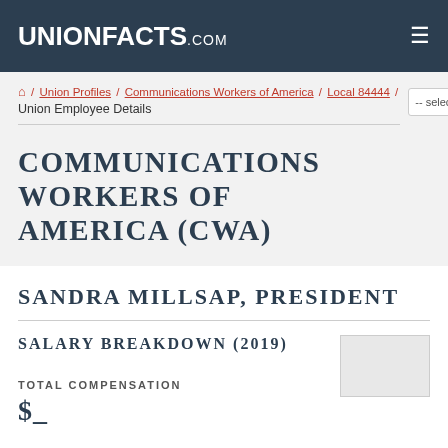UNIONFACTS.COM
🏠 / Union Profiles / Communications Workers of America / Local 84444 / Union Employee Details
COMMUNICATIONS WORKERS OF AMERICA (CWA)
SANDRA MILLSAP, PRESIDENT
SALARY BREAKDOWN (2019)
TOTAL COMPENSATION